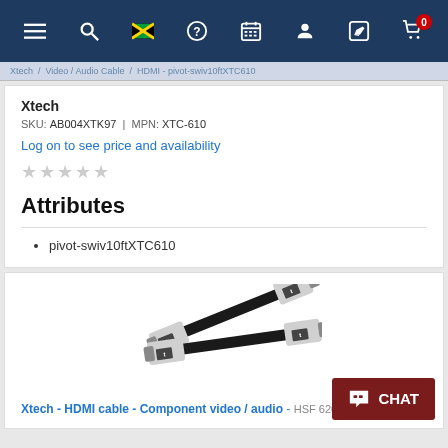Navigation bar with menu, search, Jamaica flag, help, calendar, user, edit, and cart (0) icons
Xtech / Video / Audio Cable / HDMI - pivot-swiv10ftXTC610
Xtech
SKU: AB004XTK97 | MPN: XTC-610
Log on to see price and availability
Attributes
pivot-swiv10ftXTC610
[Figure (photo): Two HDMI cables with flat black cable and silver/white metal connectors, shown crossing each other]
Xtech - HDMI cable - Component video / audio - HSF 620x2